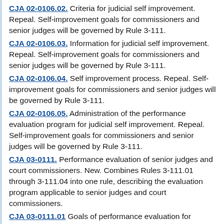CJA 02-0106.02. Criteria for judicial self improvement. Repeal. Self-improvement goals for commissioners and senior judges will be governed by Rule 3-111.
CJA 02-0106.03. Information for judicial self improvement. Repeal. Self-improvement goals for commissioners and senior judges will be governed by Rule 3-111.
CJA 02-0106.04. Self improvement process. Repeal. Self-improvement goals for commissioners and senior judges will be governed by Rule 3-111.
CJA 02-0106.05. Administration of the performance evaluation program for judicial self improvement. Repeal. Self-improvement goals for commissioners and senior judges will be governed by Rule 3-111.
CJA 03-0111. Performance evaluation of senior judges and court commissioners. New. Combines Rules 3-111.01 through 3-111.04 into one rule, describing the evaluation program applicable to senior judges and court commissioners.
CJA 03-0111.01 Goals of performance evaluation for